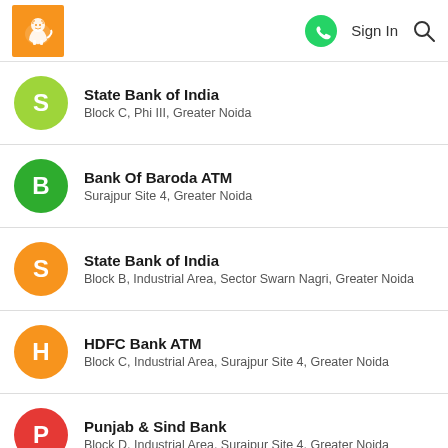NoBroker app header with logo, WhatsApp icon, Sign In, Search
State Bank of India — Block C, Phi III, Greater Noida
Bank Of Baroda ATM — Surajpur Site 4, Greater Noida
State Bank of India — Block B, Industrial Area, Sector Swarn Nagri, Greater Noida
HDFC Bank ATM — Block C, Industrial Area, Surajpur Site 4, Greater Noida
Punjab & Sind Bank — Block D, Industrial Area, Surajpur Site 4, Greater Noida
Yes Bank Kasna Branch